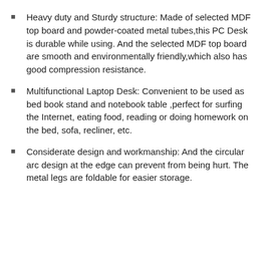Heavy duty and Sturdy structure: Made of selected MDF top board and powder-coated metal tubes,this PC Desk is durable while using. And the selected MDF top board are smooth and environmentally friendly,which also has good compression resistance.
Multifunctional Laptop Desk: Convenient to be used as bed book stand and notebook table ,perfect for surfing the Internet, eating food, reading or doing homework on the bed, sofa, recliner, etc.
Considerate design and workmanship: And the circular arc design at the edge can prevent from being hurt. The metal legs are foldable for easier storage.